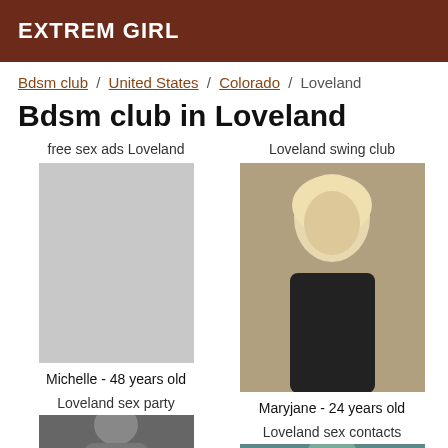EXTREM GIRL
Bdsm club / United States / Colorado / Loveland
Bdsm club in Loveland
free sex ads Loveland
[Figure (photo): No photo shown for Michelle]
Loveland swing club
[Figure (photo): Photo of Maryjane, blonde woman in black outfit]
Michelle - 48 years old
Maryjane - 24 years old
Loveland sex party
Loveland sex contacts
[Figure (photo): Partial photo bottom left]
[Figure (photo): Partial photo bottom right]